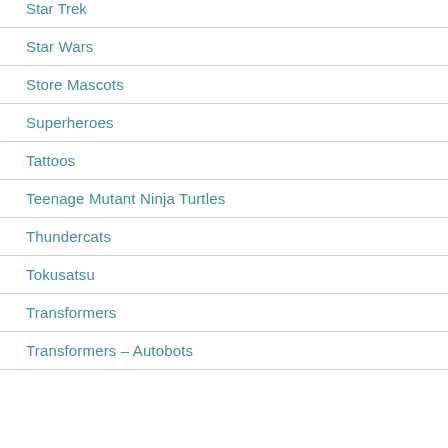Star Trek
Star Wars
Store Mascots
Superheroes
Tattoos
Teenage Mutant Ninja Turtles
Thundercats
Tokusatsu
Transformers
Transformers – Autobots